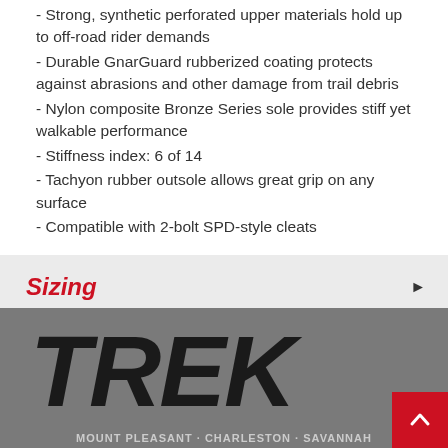- Strong, synthetic perforated upper materials hold up to off-road rider demands
- Durable GnarGuard rubberized coating protects against abrasions and other damage from trail debris
- Nylon composite Bronze Series sole provides stiff yet walkable performance
- Stiffness index: 6 of 14
- Tachyon rubber outsole allows great grip on any surface
- Compatible with 2-bolt SPD-style cleats
Sizing
[Figure (logo): TREK logo in black italic block letters on a gray background]
MOUNT PLEASANT · CHARLESTON · SAVANNAH